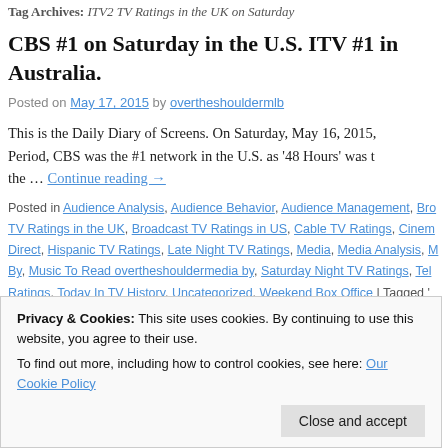Tag Archives: ITV2 TV Ratings in the UK on Saturday
CBS #1 on Saturday in the U.S. ITV #1 in Australia.
Posted on May 17, 2015 by overtheshouldermlb
This is the Daily Diary of Screens. On Saturday, May 16, 2015, Period, CBS was the #1 network in the U.S. as '48 Hours' was t the … Continue reading →
Posted in Audience Analysis, Audience Behavior, Audience Management, Broadcast TV Ratings in the UK, Broadcast TV Ratings in US, Cable TV Ratings, Cinema Direct, Hispanic TV Ratings, Late Night TV Ratings, Media, Media Analysis, Music To Read overtheshouldermedia by, Saturday Night TV Ratings, Television Ratings, Today In TV History, Uncategorized, Weekend Box Office | Tagged 'Britain's Got Talent' top program on Saturday in the UK, 'Perfect Pitch 2' pow TV o nar / 1 n A
Privacy & Cookies: This site uses cookies. By continuing to use this website, you agree to their use. To find out more, including how to control cookies, see here: Our Cookie Policy
Close and accept